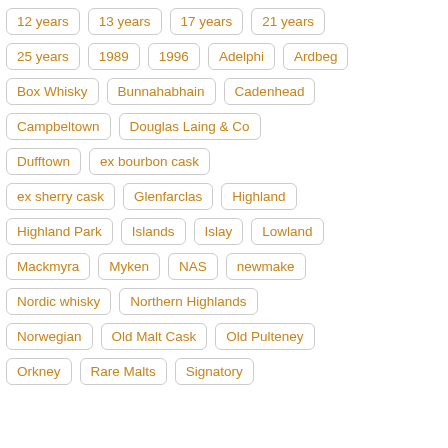12 years
13 years
17 years
21 years
25 years
1989
1996
Adelphi
Ardbeg
Box Whisky
Bunnahabhain
Cadenhead
Campbeltown
Douglas Laing & Co
Dufftown
ex bourbon cask
ex sherry cask
Glenfarclas
Highland
Highland Park
Islands
Islay
Lowland
Mackmyra
Myken
NAS
newmake
Nordic whisky
Northern Highlands
Norwegian
Old Malt Cask
Old Pulteney
Orkney
Rare Malts
Signatory